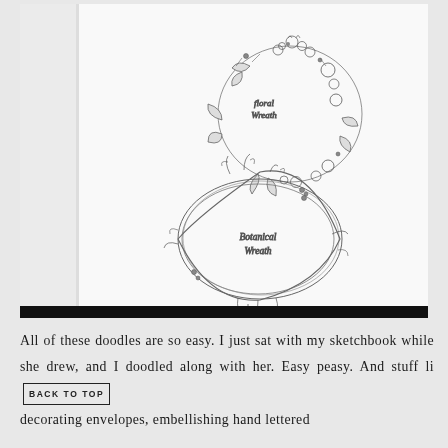[Figure (illustration): Photo of a sketchbook open to a white page showing two hand-drawn wreaths: a floral wreath labeled 'floral wreath' at top, and a botanical wreath labeled 'Botanical wreath' below it. The page sits against a slightly angled surface. The bottom of the image shows a dark edge/shadow.]
All of these doodles are so easy. I just sat with my sketchbook while she drew, and I doodled along with her. Easy peasy. And stuff like decorating envelopes, embellishing hand lettered